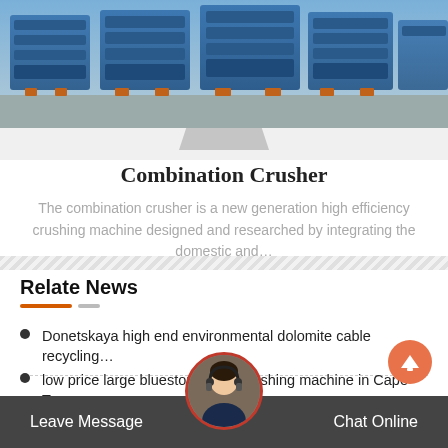[Figure (photo): Blue industrial metal frames/machinery stored outdoors, photograph cropped at top of page]
Combination Crusher
The combination crusher is a new generation high efficiency crushing machine designed and researched by integrating the domestic and…
Relate News
Donetskaya high end environmental dolomite cable recycling…
low price large bluestone sand washing machine in Cape Town
stone crusher machine ass…
Leave Message   Chat Online